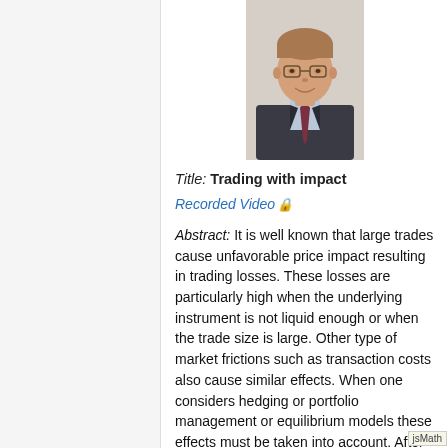[Figure (photo): Headshot of a middle-aged man in a suit and tie, smiling, wearing glasses]
Title: Trading with impact
Recorded Video 🔒
Abstract: It is well known that large trades cause unfavorable price impact resulting in trading losses. These losses are particularly high when the underlying instrument is not liquid enough or when the trade size is large. Other type of market frictions such as transaction costs also cause similar effects. When one considers hedging or portfolio management or equilibrium models these effects must be taken into account. After describing widely used approaches of Cetin, Jarrow & Protter and Almgren & Chris, I first study the impact of resilience and then the structure of the optimal portfolios. This talk will be a summary of many results obtained jointly with many people including, Peter Bank, Br...